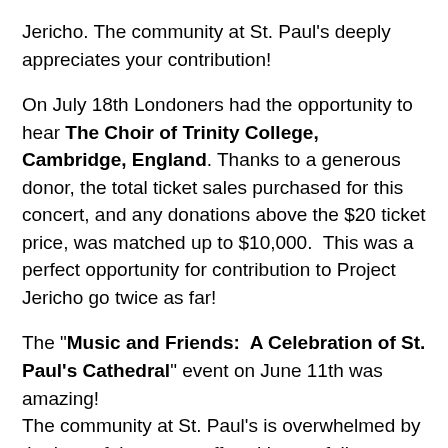Jericho. The community at St. Paul's deeply appreciates your contribution!
On July 18th Londoners had the opportunity to hear The Choir of Trinity College, Cambridge, England. Thanks to a generous donor, the total ticket sales purchased for this concert, and any donations above the $20 ticket price, was matched up to $10,000. This was a perfect opportunity for contribution to Project Jericho go twice as far!
The "Music and Friends: A Celebration of St. Paul's Cathedral" event on June 11th was amazing! The community at St. Paul's is overwhelmed by the heart-felt support offered by our fellow Londoners. The music was incredible, and was enjoyed by a full house. Many, many thanks to everyone involved: Walter Gretzky